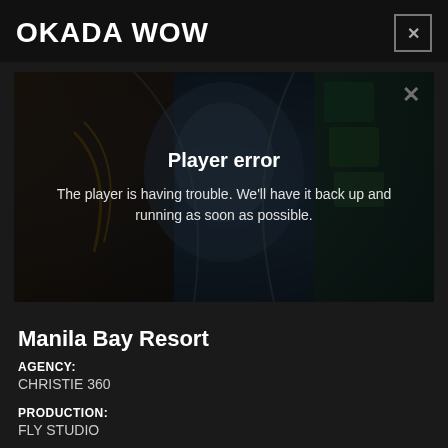OKADA WOW
[Figure (screenshot): Video player showing a dragon artwork background with a 'Player error' overlay message. An X close button is in the top right corner of the player. Text reads: Player error. The player is having trouble. We'll have it back up and running as soon as possible.]
Manila Bay Resort
AGENCY:
CHRISTIE 360
PRODUCTION:
FLY STUDIO